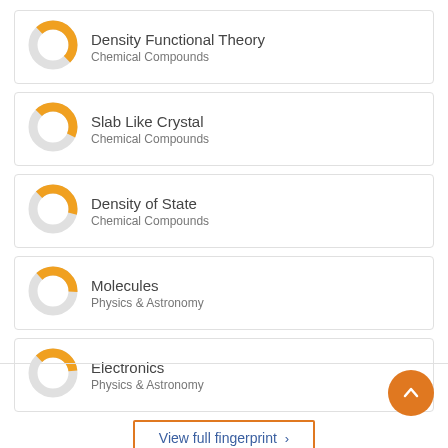Density Functional Theory / Chemical Compounds
Slab Like Crystal / Chemical Compounds
Density of State / Chemical Compounds
Molecules / Physics & Astronomy
Electronics / Physics & Astronomy
View full fingerprint >